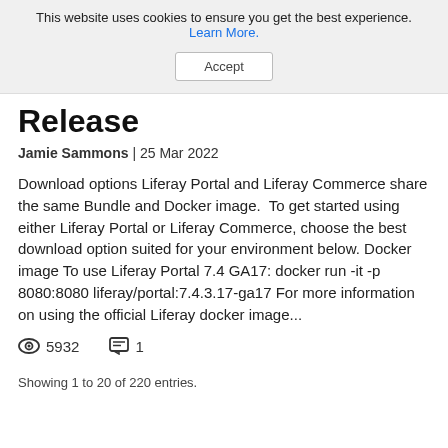This website uses cookies to ensure you get the best experience. Learn More.
Accept
Release
Jamie Sammons | 25 Mar 2022
Download options Liferay Portal and Liferay Commerce share the same Bundle and Docker image.  To get started using either Liferay Portal or Liferay Commerce, choose the best download option suited for your environment below. Docker image To use Liferay Portal 7.4 GA17: docker run -it -p 8080:8080 liferay/portal:7.4.3.17-ga17 For more information on using the official Liferay docker image...
5932  1
Showing 1 to 20 of 220 entries.